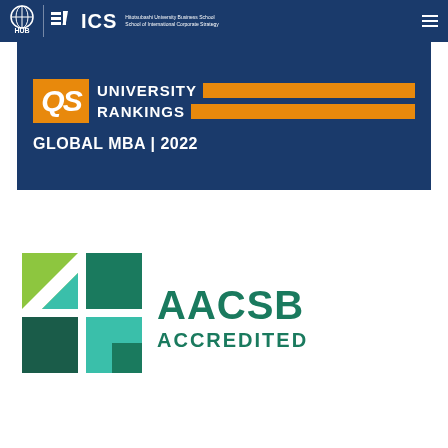[Figure (logo): Page header with Hitotsubashi University HUB logo and ICS (Hitotsubashi) branding on dark navy background with hamburger menu icon]
[Figure (screenshot): QS University Rankings Global MBA 2022 banner image on dark navy background with orange QS logo and orange rectangular bars]
[Figure (logo): AACSB Accredited logo with green geometric square icon on the left and AACSB ACCREDITED text in teal/dark green on the right]